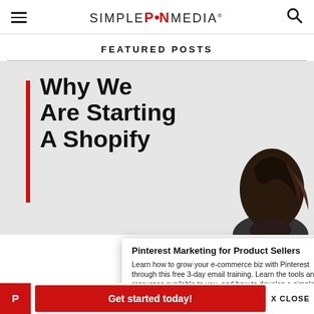SimplePinMedia
FEATURED POSTS
[Figure (photo): Featured post card with bold text 'Why We Are Starting A Shopify' on a light gray background with a red vertical bar accent and a person's dark hair visible on the right side]
Why We Are Starting A Shopify
Pinterest Marketing for Product Sellers
Learn how to grow your e-commerce biz with Pinterest through this free 3-day email training. Learn the tools and resources available to you, and how to develop a simple
Get started today!
X CLOSE